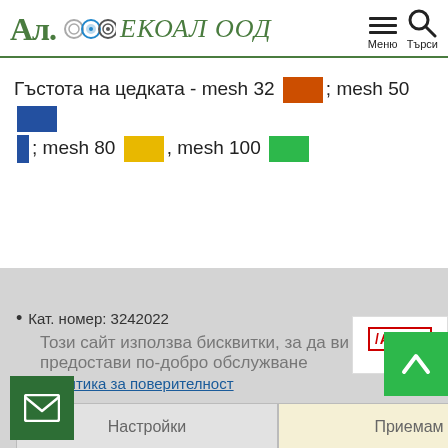[Figure (logo): Al. ЕКОАЛ ООД company logo with circular icons and green text]
Гъстота на цедката - mesh 32 [orange]; mesh 50 [blue]; mesh 80 [yellow], mesh 100 [green]
[Figure (screenshot): Cookie consent overlay with close button, bullet point about cookies, privacy policy link, and Settings/Accept buttons]
[Figure (logo): ARAG logo on right side panel]
[Figure (other): Green scroll-to-top button with upward arrow]
[Figure (other): Green email button at bottom left with envelope icon]